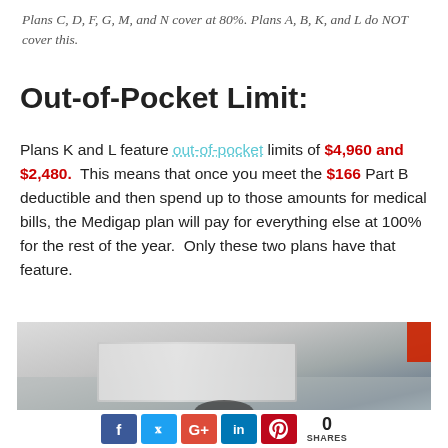Plans C, D, F, G, M, and N cover at 80%. Plans A, B, K, and L do NOT cover this.
Out-of-Pocket Limit:
Plans K and L feature out-of-pocket limits of $4,960 and $2,480. This means that once you meet the $166 Part B deductible and then spend up to those amounts for medical bills, the Medigap plan will pay for everything else at 100% for the rest of the year. Only these two plans have that feature.
[Figure (photo): Partial photo showing a desk or table surface with what appears to be papers or a laptop, and a partial red/orange element at the edge.]
Social share bar: Facebook, Twitter, Google+, LinkedIn, Pinterest — 0 SHARES